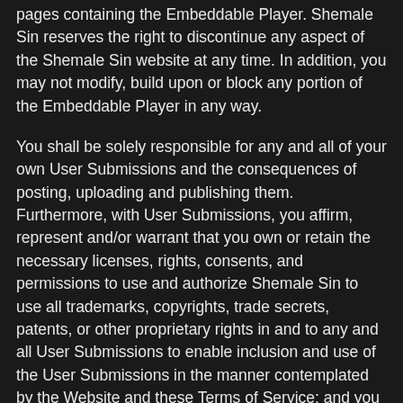pages containing the Embeddable Player. Shemale Sin reserves the right to discontinue any aspect of the Shemale Sin website at any time. In addition, you may not modify, build upon or block any portion of the Embeddable Player in any way.
You shall be solely responsible for any and all of your own User Submissions and the consequences of posting, uploading and publishing them. Furthermore, with User Submissions, you affirm, represent and/or warrant that you own or retain the necessary licenses, rights, consents, and permissions to use and authorize Shemale Sin to use all trademarks, copyrights, trade secrets, patents, or other proprietary rights in and to any and all User Submissions to enable inclusion and use of the User Submissions in the manner contemplated by the Website and these Terms of Service; and you will not post, or allow anyone else to post, any material that depicts any person under the age of 18 years and you have inspected and are maintaining written documentation sufficient to confirm that all subjects of your submissions are, in fact, over the age of 18 years. You have the written consent, release, and/or permission of each and every identifiable individual person in the User Submission to use the name or likeness of each and every such identifiable individual person to enable inclusion and use of the User Submissions in the manner contemplated by the Website and these Terms of Service. Each site must contain all former and